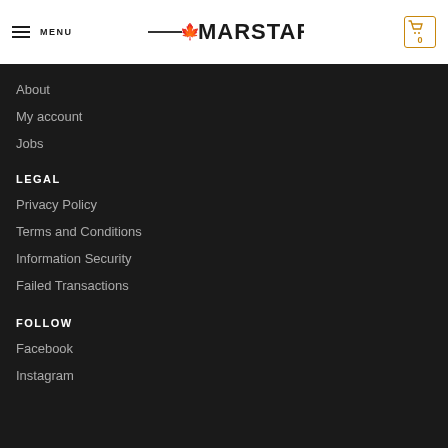MENU | MARSTAR | 0
About
My account
Jobs
LEGAL
Privacy Policy
Terms and Conditions
Information Security
Failed Transactions
FOLLOW
Facebook
Instagram